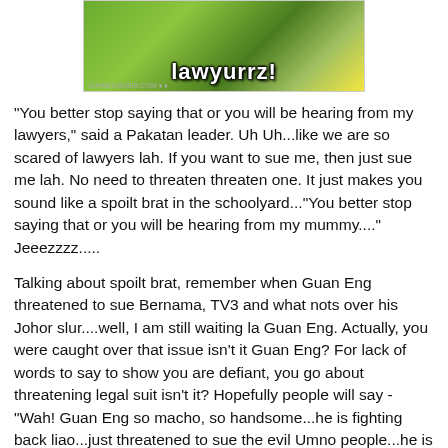[Figure (photo): Meme image with green background showing 'lawyurrz!' text in bold white Impact font]
"You better stop saying that or you will be hearing from my lawyers," said a Pakatan leader. Uh Uh...like we are so scared of lawyers lah. If you want to sue me, then just sue me lah. No need to threaten threaten one. It just makes you sound like a spoilt brat in the schoolyard..."You better stop saying that or you will be hearing from my mummy...." Jeeezzzz.....
Talking about spoilt brat, remember when Guan Eng threatened to sue Bernama, TV3 and what nots over his Johor slur....well, I am still waiting la Guan Eng. Actually, you were caught over that issue isn't it Guan Eng? For lack of words to say to show you are defiant, you go about threatening legal suit isn't it? Hopefully people will say - "Wah! Guan Eng so macho, so handsome...he is fighting back liao...just threatened to sue the evil Umno people...he is so blave one...he is my herrro...."  Aiya, I know your trick lar.